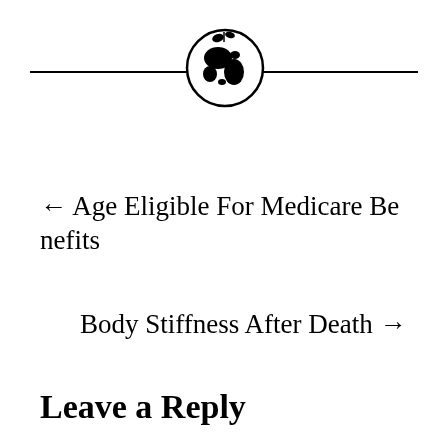[Figure (illustration): Decorative header with a globe/earth logo icon centered between two horizontal lines]
← Age Eligible For Medicare Benefits
Body Stiffness After Death →
Leave a Reply